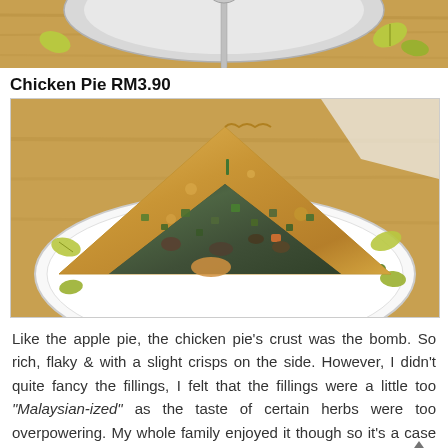[Figure (photo): Top portion of a plate with a spoon and decorative leaf pattern, on a wooden table background]
Chicken Pie RM3.90
[Figure (photo): A cut open chicken pie slice on a white plate with leaf decoration, showing rich flaky crust and vegetable/meat filling]
Like the apple pie, the chicken pie's crust was the bomb. So rich, flaky & with a slight crisps on the side. However, I didn't quite fancy the fillings, I felt that the fillings were a little too "Malaysian-ized" as the taste of certain herbs were too overpowering. My whole family enjoyed it though so it's a case of preference I guess :)